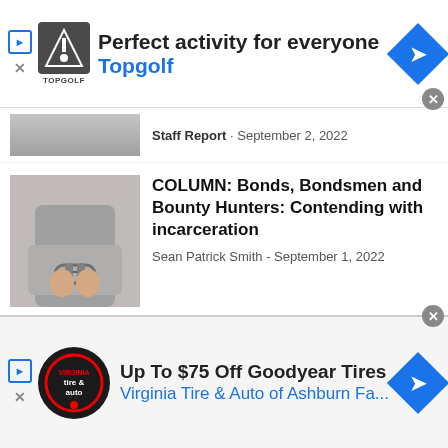[Figure (screenshot): Top advertisement banner for Topgolf: 'Perfect activity for everyone' with Topgolf logo and navigation arrow]
Staff Report · September 2, 2022
[Figure (photo): Person in handcuffs behind their back wearing a grey sweater]
COLUMN: Bonds, Bondsmen and Bounty Hunters: Contending with incarceration
Sean Patrick Smith - September 1, 2022
[Figure (photo): Judge or official sitting at a bench in a courtroom]
State Supreme Court peppers lawyers with questions about $785 million Leandro...
Carolina Journal Staff - September 1, 2022
[Figure (screenshot): Bottom advertisement banner for Virginia Tire & Auto of Ashburn: 'Up To $75 Off Goodyear Tires']